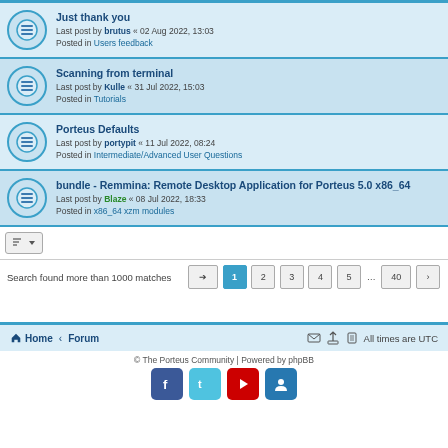Just thank you — Last post by brutus « 02 Aug 2022, 13:03 — Posted in Users feedback
Scanning from terminal — Last post by Kulle « 31 Jul 2022, 15:03 — Posted in Tutorials
Porteus Defaults — Last post by portypit « 11 Jul 2022, 08:24 — Posted in Intermediate/Advanced User Questions
bundle - Remmina: Remote Desktop Application for Porteus 5.0 x86_64 — Last post by Blaze « 08 Jul 2022, 18:33 — Posted in x86_64 xzm modules
Search found more than 1000 matches
Home · Forum — All times are UTC
© The Porteus Community | Powered by phpBB